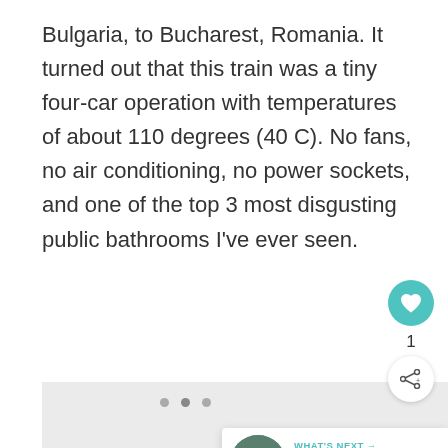Bulgaria, to Bucharest, Romania. It turned out that this train was a tiny four-car operation with temperatures of about 110 degrees (40 C). No fans, no air conditioning, no power sockets, and one of the top 3 most disgusting public bathrooms I've ever seen.
[Figure (photo): Large image placeholder with light gray background and three navigation dots, showing a travel photo area]
[Figure (infographic): UI overlay: like button (teal circle with heart icon), count '1', share button (circle with share icon), and 'WHAT'S NEXT' card with thumbnail of landscape and text 'The Asia Jaunt — Month Six...']